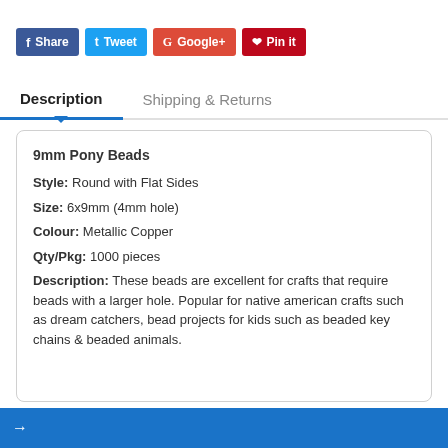[Figure (infographic): Social sharing buttons: Facebook Share, Twitter Tweet, Google+ Google+, Pinterest Pin it]
Description | Shipping & Returns
9mm Pony Beads
Style: Round with Flat Sides
Size: 6x9mm (4mm hole)
Colour: Metallic Copper
Qty/Pkg: 1000 pieces
Description: These beads are excellent for crafts that require beads with a larger hole. Popular for native american crafts such as dream catchers, bead projects for kids such as beaded key chains & beaded animals.
→